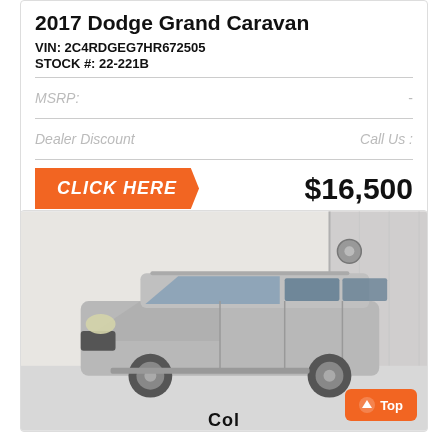2017 Dodge Grand Caravan
VIN: 2C4RDGEG7HR672505
STOCK #: 22-221B
MSRP:  -
Dealer Discount  Call Us :
CLICK HERE  $16,500
[Figure (photo): Silver 2017 Dodge Grand Caravan minivan photographed inside a dealership garage, front 3/4 view.]
Top
Col